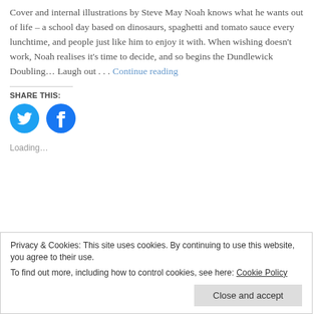Cover and internal illustrations by Steve May Noah knows what he wants out of life – a school day based on dinosaurs, spaghetti and tomato sauce every lunchtime, and people just like him to enjoy it with. When wishing doesn't work, Noah realises it's time to decide, and so begins the Dundlewick Doubling… Laugh out . . . Continue reading
SHARE THIS:
[Figure (illustration): Twitter and Facebook social share icon buttons (blue circles with white bird and 'f' icons)]
Loading…
Privacy & Cookies: This site uses cookies. By continuing to use this website, you agree to their use. To find out more, including how to control cookies, see here: Cookie Policy
Close and accept